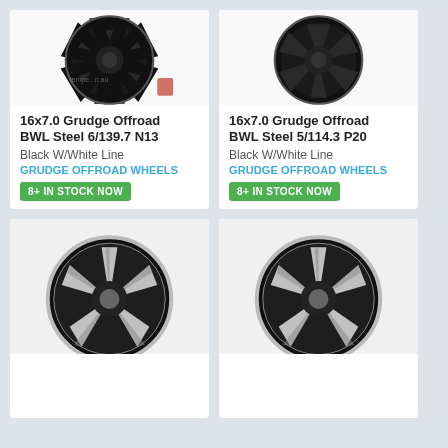[Figure (photo): Black steel offroad wheel - 16x7.0 Grudge Offroad BWL Steel 6/139.7 N13, Black W/White Line]
16x7.0 Grudge Offroad BWL Steel 6/139.7 N13
Black W/White Line
GRUDGE OFFROAD WHEELS
8+ IN STOCK NOW
$102 ea
+ VIEW DETAILS
[Figure (photo): Black steel offroad wheel - 16x7.0 Grudge Offroad BWL Steel 5/114.3 P20, Black W/White Line]
16x7.0 Grudge Offroad BWL Steel 5/114.3 P20
Black W/White Line
GRUDGE OFFROAD WHEELS
8+ IN STOCK NOW
$102 ea
+ VIEW DETAILS
[Figure (photo): Black and chrome alloy wheel, multi-spoke design, partial view]
[Figure (photo): Black and chrome alloy wheel, multi-spoke design, partial view]